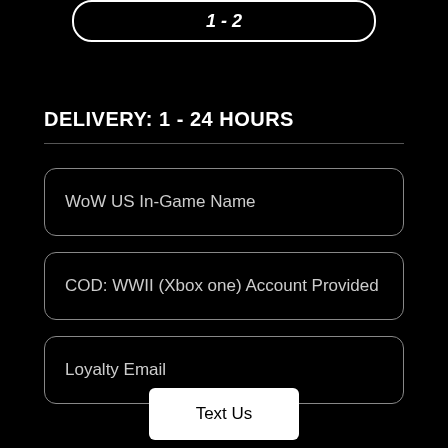[Figure (other): Rounded rectangle button at top with italic bold text partially visible]
DELIVERY: 1 - 24 HOURS
WoW US In-Game Name
COD: WWII (Xbox one) Account Provided
Loyalty Email
Text Us